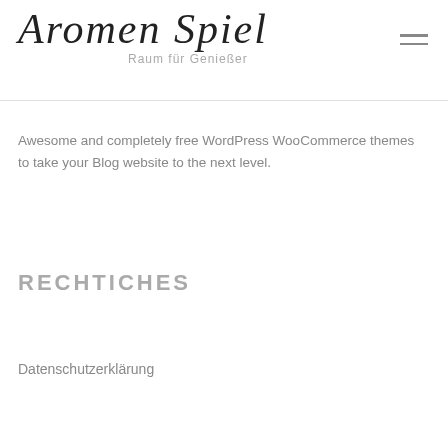[Figure (logo): Aromen Spiel script logo with tagline 'Raum für Genießer']
Awesome and completely free WordPress WooCommerce themes to take your Blog website to the next level.
RECHTICHES
Datenschutzerklärung